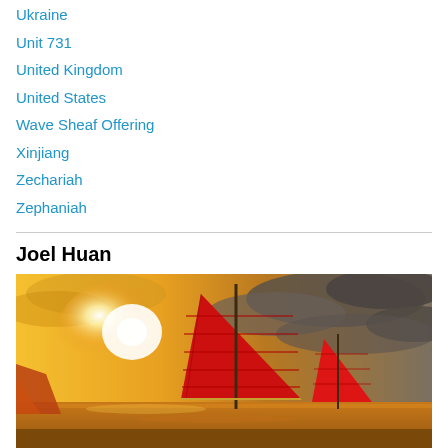Ukraine
Unit 731
United Kingdom
United States
Wave Sheaf Offering
Xinjiang
Zechariah
Zephaniah
Joel Huan
[Figure (photo): Chinese junk boats with red sails on water under a dramatic golden and stormy sky at sunset]